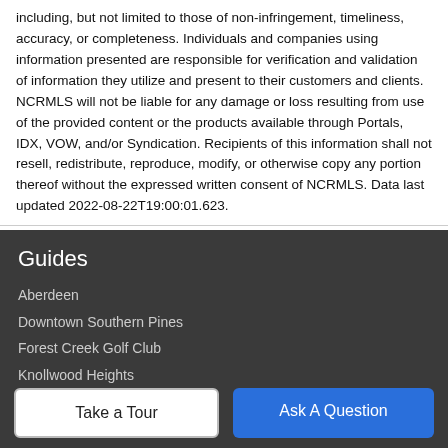including, but not limited to those of non-infringement, timeliness, accuracy, or completeness. Individuals and companies using information presented are responsible for verification and validation of information they utilize and present to their customers and clients. NCRMLS will not be liable for any damage or loss resulting from use of the provided content or the products available through Portals, IDX, VOW, and/or Syndication. Recipients of this information shall not resell, redistribute, reproduce, modify, or otherwise copy any portion thereof without the expressed written consent of NCRMLS. Data last updated 2022-08-22T19:00:01.623.
Guides
Aberdeen
Downtown Southern Pines
Forest Creek Golf Club
Knollwood Heights
...Golf Club